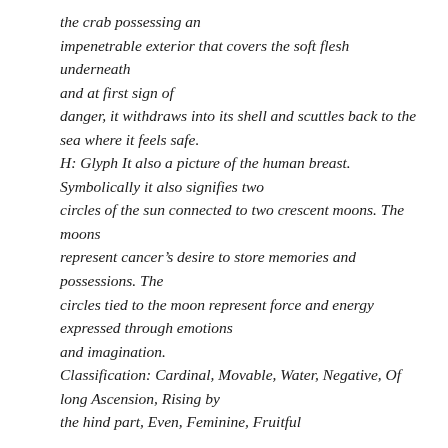the crab possessing an impenetrable exterior that covers the soft flesh underneath and at first sign of danger, it withdraws into its shell and scuttles back to the sea where it feels safe. H: Glyph It also a picture of the human breast. Symbolically it also signifies two circles of the sun connected to two crescent moons. The moons represent cancer's desire to store memories and possessions. The circles tied to the moon represent force and energy expressed through emotions and imagination. Classification: Cardinal, Movable, Water, Negative, Of long Ascension, Rising by the hind part, Even, Feminine, Fruitful